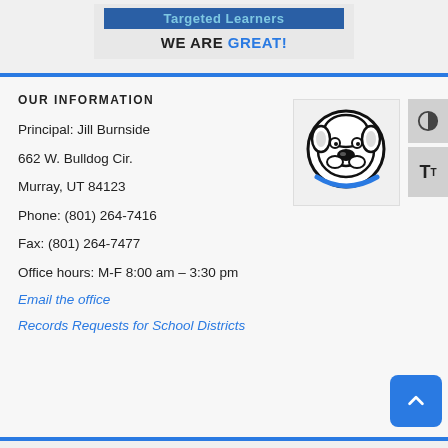[Figure (logo): School banner with 'Targeted Learners' text in blue box and 'WE ARE GREAT!' text below]
OUR INFORMATION
Principal: Jill Burnside
662 W. Bulldog Cir.
Murray, UT 84123
Phone: (801) 264-7416
Fax: (801) 264-7477
Office hours: M-F 8:00 am – 3:30 pm
Email the office
Records Requests for School Districts
[Figure (logo): Bulldog mascot logo — black and white bulldog face with blue swoosh]